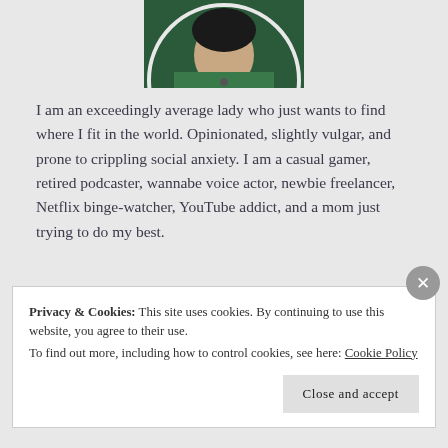[Figure (photo): Circular cropped profile photo of a person wearing green, partially visible at the top of the page]
I am an exceedingly average lady who just wants to find where I fit in the world. Opinionated, slightly vulgar, and prone to crippling social anxiety. I am a casual gamer, retired podcaster, wannabe voice actor, newbie freelancer, Netflix binge-watcher, YouTube addict, and a mom just trying to do my best.
Privacy & Cookies: This site uses cookies. By continuing to use this website, you agree to their use.
To find out more, including how to control cookies, see here: Cookie Policy
Close and accept